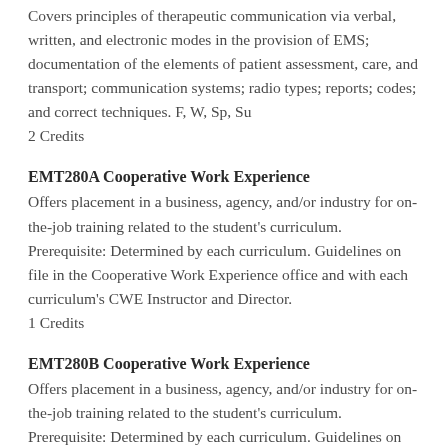Covers principles of therapeutic communication via verbal, written, and electronic modes in the provision of EMS; documentation of the elements of patient assessment, care, and transport; communication systems; radio types; reports; codes; and correct techniques. F, W, Sp, Su
2 Credits
EMT280A Cooperative Work Experience
Offers placement in a business, agency, and/or industry for on-the-job training related to the student's curriculum. Prerequisite: Determined by each curriculum. Guidelines on file in the Cooperative Work Experience office and with each curriculum's CWE Instructor and Director.
1 Credits
EMT280B Cooperative Work Experience
Offers placement in a business, agency, and/or industry for on-the-job training related to the student's curriculum. Prerequisite: Determined by each curriculum. Guidelines on file in the Cooperative Work Experience office and with each